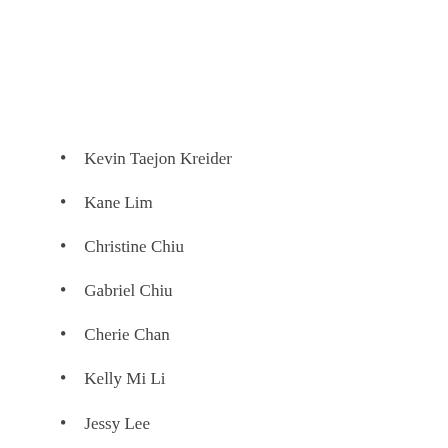Kevin Taejon Kreider
Kane Lim
Christine Chiu
Gabriel Chiu
Cherie Chan
Kelly Mi Li
Jessy Lee